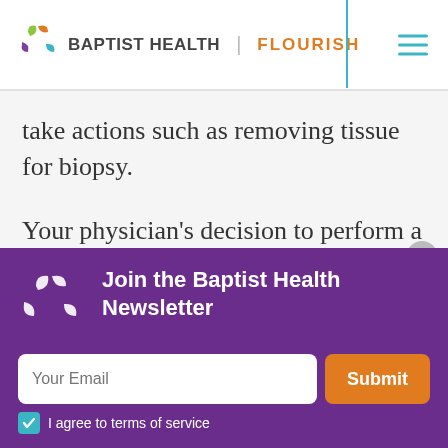[Figure (logo): Baptist Health | Flourish logo with colorful leaf icon]
take actions such as removing tissue for biopsy.
Your physician's decision to perform a barium swallow or an endoscopy will
Join the Baptist Health Newsletter
I agree to terms of service